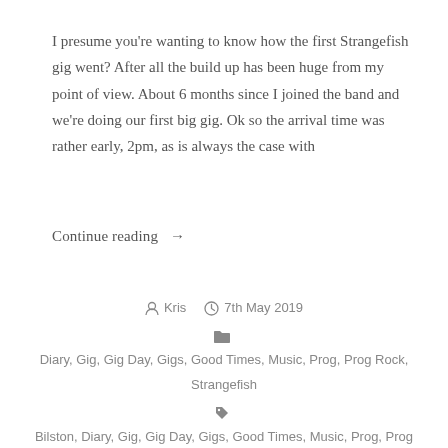I presume you're wanting to know how the first Strangefish gig went? After all the build up has been huge from my point of view. About 6 months since I joined the band and we're doing our first big gig. Ok so the arrival time was rather early, 2pm, as is always the case with
Continue reading →
Kris  7th May 2019
Diary, Gig, Gig Day, Gigs, Good Times, Music, Prog, Prog Rock, Strangefish
Bilston, Diary, Gig, Gig Day, Gigs, Good Times, Music, Prog, Prog Rock, Strangefish, The Robin
Leave a comment